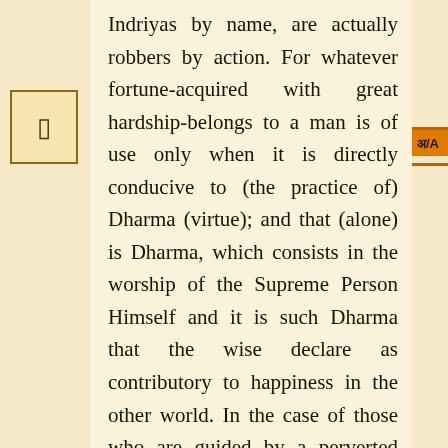Indriyas by name, are actually robbers by action. For whatever fortune-acquired with great hardship-belongs to a man is of use only when it is directly conducive to (the practice of) Dharma (virtue); and that (alone) is Dharma, which consists in the worship of the Supreme Person Himself and it is such Dharma that the wise declare as contributory to happiness in the other world. In the case of those who are guided by a perverted intellect and whose mind has not been subdued, as in the case of a company of (itinerant) traders